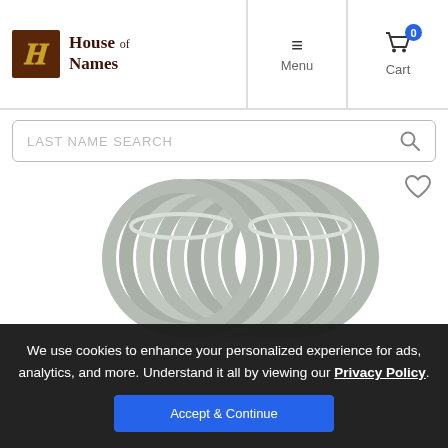House of Names — Menu — Cart (0)
LAST NAME SEARCH
[Figure (photo): A stack of silver metal key rings / binder rings piled together, photographed on a white background.]
We use cookies to enhance your personalized experience for ads, analytics, and more. Understand it all by viewing our Privacy Policy.
Accept & Continue